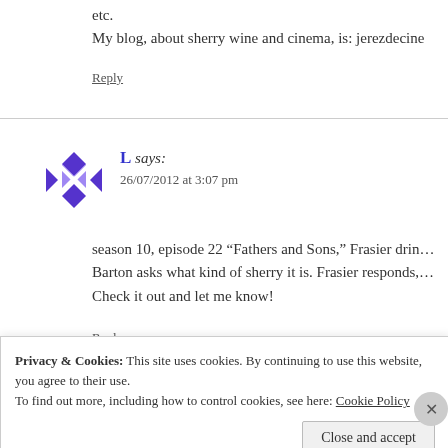etc.
My blog, about sherry wine and cinema, is: jerezdecine
Reply
L says:
26/07/2012 at 3:07 pm
season 10, episode 22 “Fathers and Sons,” Frasier drin… Barton asks what kind of sherry it is. Frasier responds,… Check it out and let me know!
Reply
Privacy & Cookies: This site uses cookies. By continuing to use this website, you agree to their use.
To find out more, including how to control cookies, see here: Cookie Policy
Close and accept